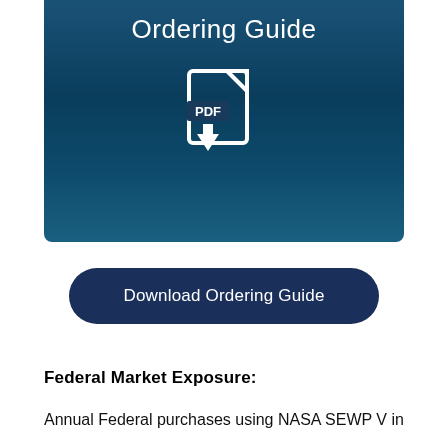[Figure (illustration): NASA SEWP Ordering Guide banner with teal/dark blue gradient background, white text reading 'Ordering Guide', and a white PDF download icon with downward arrow]
Download Ordering Guide
Federal Market Exposure:
Annual Federal purchases using NASA SEWP V in